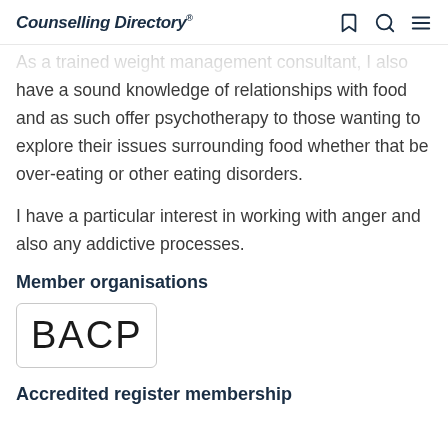Counselling Directory
As a trained weight management consultant, I also have a sound knowledge of relationships with food and as such offer psychotherapy to those wanting to explore their issues surrounding food whether that be over-eating or other eating disorders.
I have a particular interest in working with anger and also any addictive processes.
Member organisations
[Figure (logo): BACP logo — black text 'BACP' in a rounded rectangle border]
Accredited register membership